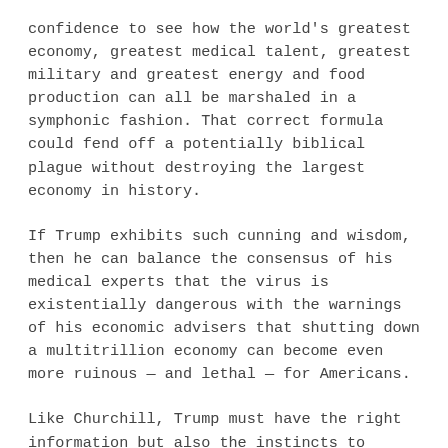confidence to see how the world's greatest economy, greatest medical talent, greatest military and greatest energy and food production can all be marshaled in a symphonic fashion. That correct formula could fend off a potentially biblical plague without destroying the largest economy in history.
If Trump exhibits such cunning and wisdom, then he can balance the consensus of his medical experts that the virus is existentially dangerous with the warnings of his economic advisers that shutting down a multitrillion economy can become even more ruinous — and lethal — for Americans.
Like Churchill, Trump must have the right information but also the instincts to determine